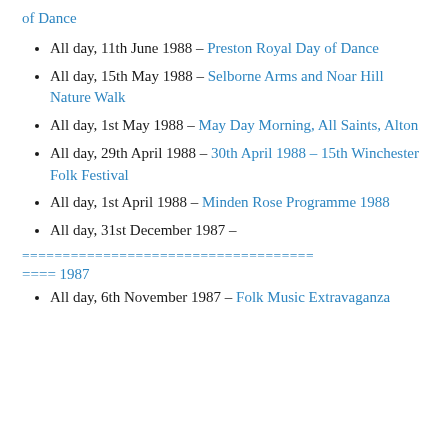of Dance
All day, 11th June 1988 – Preston Royal Day of Dance
All day, 15th May 1988 – Selborne Arms and Noar Hill Nature Walk
All day, 1st May 1988 – May Day Morning, All Saints, Alton
All day, 29th April 1988 – 30th April 1988 – 15th Winchester Folk Festival
All day, 1st April 1988 – Minden Rose Programme 1988
All day, 31st December 1987 –
==================================== ==== 1987
All day, 6th November 1987 – Folk Music Extravaganza